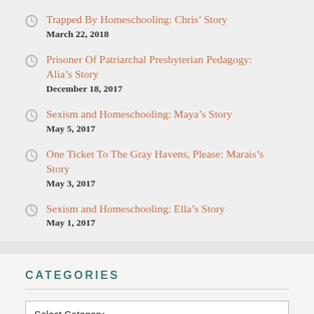Trapped By Homeschooling: Chris’ Story
March 22, 2018
Prisoner Of Patriarchal Presbyterian Pedagogy: Alia’s Story
December 18, 2017
Sexism and Homeschooling: Maya’s Story
May 5, 2017
One Ticket To The Gray Havens, Please: Marais’s Story
May 3, 2017
Sexism and Homeschooling: Ella’s Story
May 1, 2017
CATEGORIES
Select Category